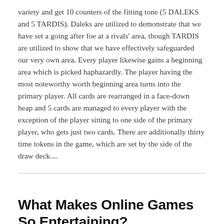variety and get 10 counters of the fitting tone (5 DALEKS and 5 TARDIS). Daleks are utilized to demonstrate that we have set a going after foe at a rivals' area, though TARDIS are utilized to show that we have effectively safeguarded our very own area. Every player likewise gains a beginning area which is picked haphazardly. The player having the most noteworthy worth beginning area turns into the primary player. All cards are rearranged in a face-down heap and 5 cards are managed to every player with the exception of the player sitting to one side of the primary player, who gets just two cards. There are additionally thirty time tokens in the game, which are set by the side of the draw deck....
What Makes Online Games So Entertaining?